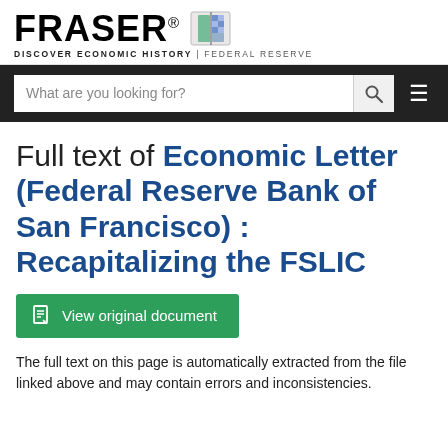FRASER® DISCOVER ECONOMIC HISTORY | FEDERAL RESERVE
Full text of Economic Letter (Federal Reserve Bank of San Francisco) : Recapitalizing the FSLIC
View original document
The full text on this page is automatically extracted from the file linked above and may contain errors and inconsistencies.